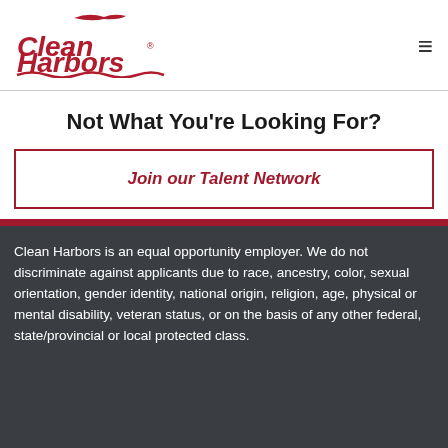[Figure (logo): Clean Harbors logo in red with wave/harbor design]
Not What You're Looking For?
Join our Talent Network
Clean Harbors is an equal opportunity employer. We do not discriminate against applicants due to race, ancestry, color, sexual orientation, gender identity, national origin, religion, age, physical or mental disability, veteran status, or on the basis of any other federal, state/provincial or local protected class.